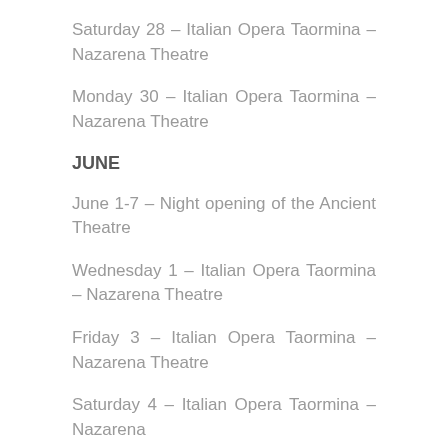Saturday 28 – Italian Opera Taormina – Nazarena Theatre
Monday 30 – Italian Opera Taormina – Nazarena Theatre
JUNE
June 1-7 – Night opening of the Ancient Theatre
Wednesday 1 – Italian Opera Taormina – Nazarena Theatre
Friday 3 – Italian Opera Taormina – Nazarena Theatre
Saturday 4 – Italian Opera Taormina – Nazarena